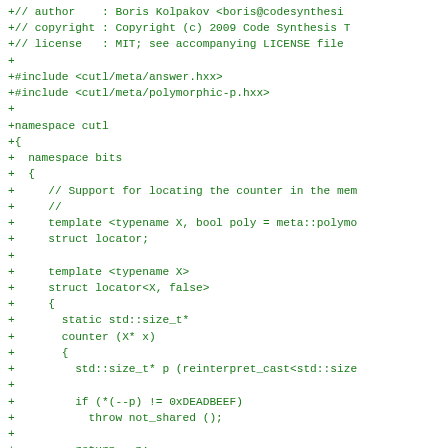+// author    : Boris Kolpakov <boris@codesynthesi
+// copyright : Copyright (c) 2009 Code Synthesis T
+// license   : MIT; see accompanying LICENSE file
+
+#include <cutl/meta/answer.hxx>
+#include <cutl/meta/polymorphic-p.hxx>
+
+namespace cutl
+{
+  namespace bits
+  {
+     // Support for locating the counter in the mem
+     //
+     template <typename X, bool poly = meta::polymo
+     struct locator;
+
+     template <typename X>
+     struct locator<X, false>
+     {
+       static std::size_t*
+       counter (X* x)
+       {
+         std::size_t* p (reinterpret_cast<std::size
+
+         if (*(--p) != 0xDEADBEEF)
+           throw not_shared ();
+
+         return --p;
+       }
+     };
+